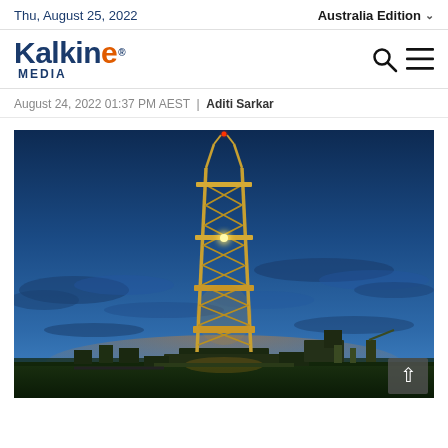Thu, August 25, 2022 | Australia Edition
[Figure (logo): Kalkine Media logo — blue bold text 'Kalkine' with orange 'e', and 'MEDIA' in blue below, with search and hamburger menu icons on the right]
August 24, 2022 01:37 PM AEST | Aditi Sarkar
[Figure (photo): Night photograph of an illuminated oil/gas drilling rig against a deep blue twilight sky with scattered clouds and warm orange glow on the horizon]